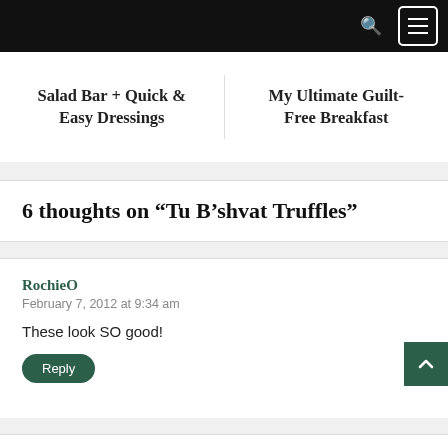Salad Bar + Quick & Easy Dressings
My Ultimate Guilt-Free Breakfast
6 thoughts on “Tu B’shvat Truffles”
RochieO
February 7, 2012 at 9:34 am
These look SO good!
Reply
OOO
February 8, 2012 at 6:23 pm